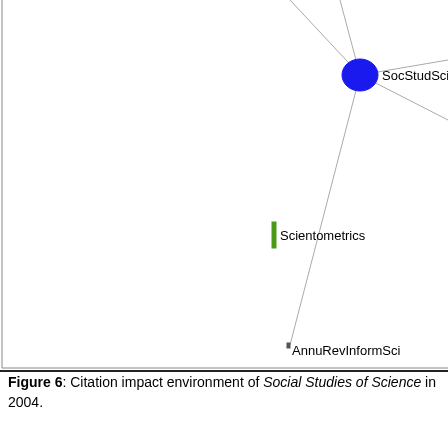[Figure (network-graph): Citation impact environment network graph showing nodes: SocStudSci (large blue circle, top right), Scientometrics (small green rectangle node, center), AnnuRevInformSci (small node, bottom center). Lines connect SocStudSci to other nodes. Partial view of larger network.]
Figure 6: Citation impact environment of Social Studies of Science in 2004.